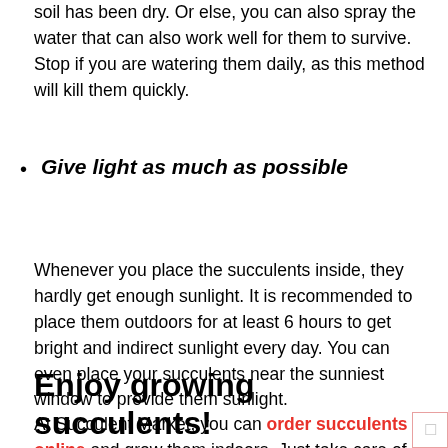soil has been dry. Or else, you can also spray the water that can also work well for them to survive. Stop if you are watering them daily, as this method will kill them quickly.
Give light as much as possible
Whenever you place the succulents inside, they hardly get enough sunlight. It is recommended to place them outdoors for at least 6 hours to get bright and indirect sunlight every day. You can even place your succulents near the sunniest window to provide them sunlight.
Enjoy growing succulents!
At Succulent Market, you can order succulents online and grow them indoors. Just take care of them cautiously without